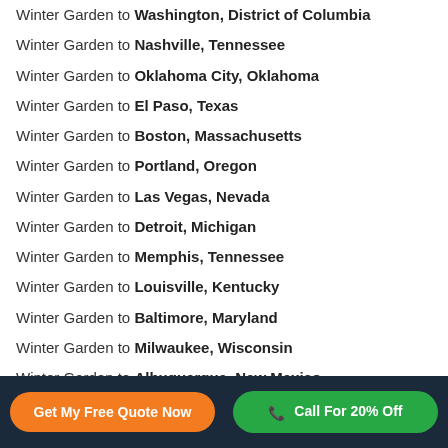Winter Garden to Washington, District of Columbia
Winter Garden to Nashville, Tennessee
Winter Garden to Oklahoma City, Oklahoma
Winter Garden to El Paso, Texas
Winter Garden to Boston, Massachusetts
Winter Garden to Portland, Oregon
Winter Garden to Las Vegas, Nevada
Winter Garden to Detroit, Michigan
Winter Garden to Memphis, Tennessee
Winter Garden to Louisville, Kentucky
Winter Garden to Baltimore, Maryland
Winter Garden to Milwaukee, Wisconsin
Winter Garden to Albuquerque, New Mexico
Get My Free Quote Now | Call For 20% Off